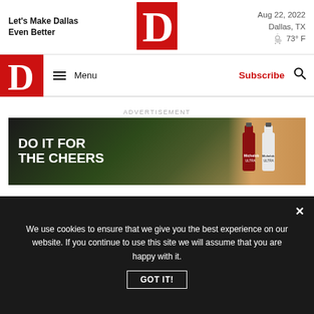Let's Make Dallas Even Better
[Figure (logo): D Magazine red square logo with white letter D]
Aug 22, 2022
Dallas, TX
73° F
[Figure (logo): D Magazine navigation logo red square with white D]
Menu
Subscribe
ADVERTISEMENT
[Figure (photo): Michelob ULTRA advertisement banner: DO IT FOR THE CHEERS with golfer smiling and beer bottles]
Baseball
We use cookies to ensure that we give you the best experience on our website. If you continue to use this site we will assume that you are happy with it.
GOT IT!